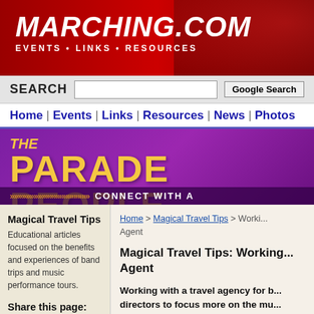MARCHING.COM EVENTS • LINKS • RESOURCES
SEARCH | Google Search | Home | Events | Links | Resources | News | Photos
[Figure (logo): The Parade People banner with purple background and gold text, arrows and CONNECT WITH A text]
Magical Travel Tips
Educational articles focused on the benefits and experiences of band trips and music performance tours.
Share this page:
Home > Magical Travel Tips > Working with a Travel Agent
Magical Travel Tips: Working with a Travel Agent
Working with a travel agency for b... directors to focus more on the mu... logistics.
By Elizabeth Geli
Posted December 11, 2018